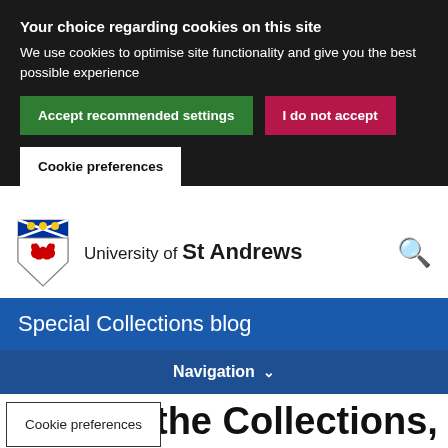Your choice regarding cookies on this site
We use cookies to optimise site functionality and give you the best possible experience
Accept recommended settings
I do not accept
Cookie preferences
[Figure (logo): University of St Andrews crest/shield logo]
University of St Andrews
Special Collections blog
Navigation ∨
Cookie preferences
the Collections,